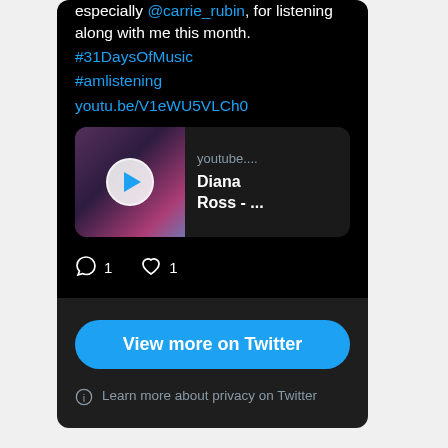especially @carrie_rubin, for listening along with me this month. #31DaysOfMusic #amlistening youtu.be/V1eWU5VLCh0
[Figure (screenshot): YouTube video thumbnail showing Diana Ross album art with play button, labeled 'youtube.... Diana Ross - ...']
1 comment, 1 like
View more on Twitter
Learn more about privacy on Twitter